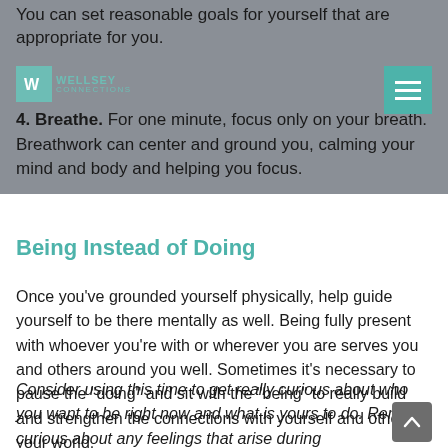You can set reasonable goals for yourself that are appropriate for you.
Wellsey Connections
4. Breathe. For one minute, focus only on your breath. Breathwork can center and ground you, calming your mind and body and helping you focus.
Being Instead of Doing
Once you've grounded yourself physically, help guide yourself to be there mentally as well. Being fully present with whoever you're with or wherever you are serves you and others around you well. Sometimes it's necessary to pause the “doing” and sit with the “being” to really build and strengthen the connections with yourself and others in your world.
Consider using this time to get really curious about who you want to be right now and what is yours to do. Remain curious about any feelings that arise during